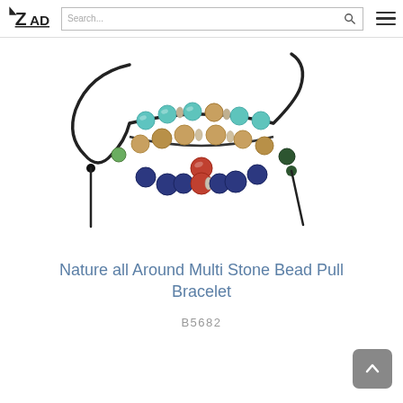ZAD logo, Search bar, Hamburger menu
[Figure (photo): A colorful multi-stone bead pull bracelet with turquoise, brown/jasper, navy, red/coral, and silver beads on a black adjustable cord, displayed on a white background.]
Nature all Around Multi Stone Bead Pull Bracelet
B5682